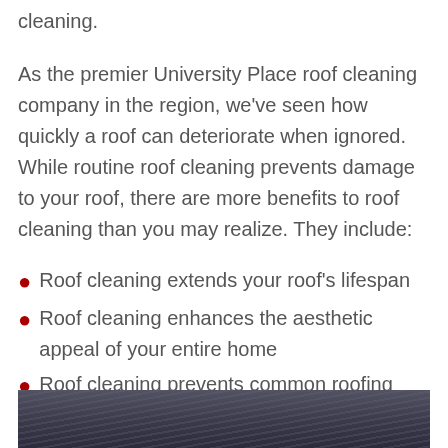cleaning.
As the premier University Place roof cleaning company in the region, we've seen how quickly a roof can deteriorate when ignored. While routine roof cleaning prevents damage to your roof, there are more benefits to roof cleaning than you may realize. They include:
Roof cleaning extends your roof's lifespan
Roof cleaning enhances the aesthetic appeal of your entire home
Roof cleaning prevents common roofing problems like leaks
[Figure (photo): Photograph of a roof, partially visible at the bottom of the page]